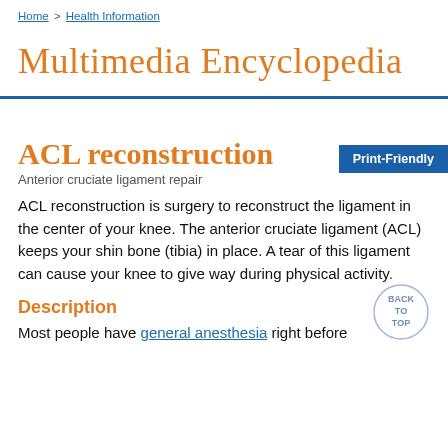Home > Health Information
Multimedia Encyclopedia
ACL reconstruction
Anterior cruciate ligament repair
ACL reconstruction is surgery to reconstruct the ligament in the center of your knee. The anterior cruciate ligament (ACL) keeps your shin bone (tibia) in place. A tear of this ligament can cause your knee to give way during physical activity.
Description
Most people have general anesthesia right before